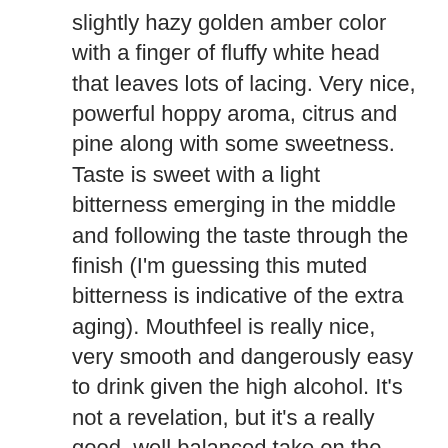slightly hazy golden amber color with a finger of fluffy white head that leaves lots of lacing. Very nice, powerful hoppy aroma, citrus and pine along with some sweetness. Taste is sweet with a light bitterness emerging in the middle and following the taste through the finish (I'm guessing this muted bitterness is indicative of the extra aging). Mouthfeel is really nice, very smooth and dangerously easy to drink given the high alcohol. It's not a revelation, but it's a really good, well balanced take on the double IPA (and certainly much better than Yards's regular IPA). B+
Beer Nerd Details: 8.1% ABV bottled (12 oz.) Drank out of a tulip glass on 9/2/11.